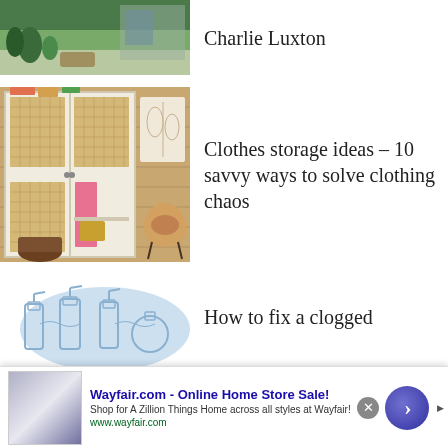[Figure (photo): Outdoor/garden patio area with plants and furniture, partially visible at top]
Charlie Luxton
[Figure (photo): White wardrobe with rattan/cane panel sliding doors in a bedroom with wooden wall, pink clothing hanging inside, rattan chair with cushion]
Clothes storage ideas – 10 savvy ways to solve clothing chaos
[Figure (illustration): Light blue illustrated graphic of spray bottles and cleaning product bottles]
How to fix a clogged
[Figure (other): Wayfair.com advertisement banner with thumbnail, headline, description and arrow button]